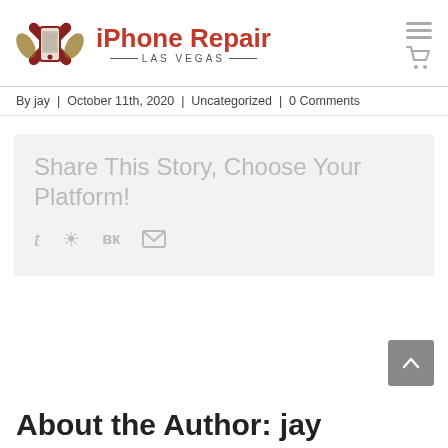[Figure (logo): iPhone Repair Las Vegas logo with crossed wrenches and a phone icon, red and grey color scheme]
By jay | October 11th, 2020 | Uncategorized | 0 Comments
Share This Story, Choose Your Platform!
t  ℗  vk  ✉
About the Author: jay